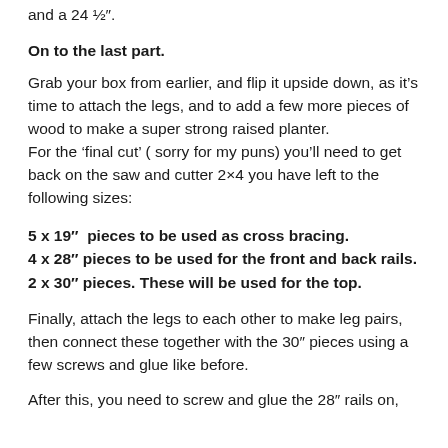and a 24 ½″.
On to the last part.
Grab your box from earlier, and flip it upside down, as it's time to attach the legs, and to add a few more pieces of wood to make a super strong raised planter.
For the 'final cut' ( sorry for my puns) you'll need to get back on the saw and cutter 2×4 you have left to the following sizes:
5 x 19″  pieces to be used as cross bracing.
4 x 28″ pieces to be used for the front and back rails.
2 x 30″ pieces. These will be used for the top.
Finally, attach the legs to each other to make leg pairs, then connect these together with the 30″ pieces using a few screws and glue like before.
After this, you need to screw and glue the 28″ rails on,